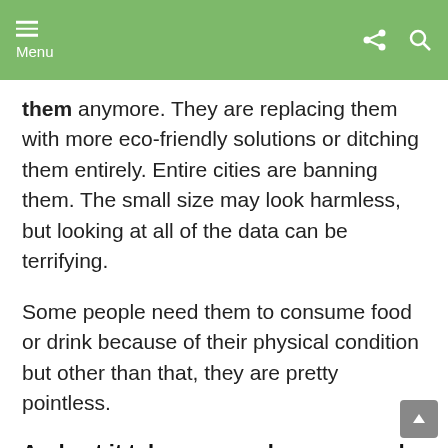Menu
them anymore. They are replacing them with more eco-friendly solutions or ditching them entirely. Entire cities are banning them. The small size may look harmless, but looking at all of the data can be terrifying.
Some people need them to consume food or drink because of their physical condition but other than that, they are pretty pointless.
And yet it takes so much energy and resources to produce them which creates pollution and uses a lot of water and fossil fuels.